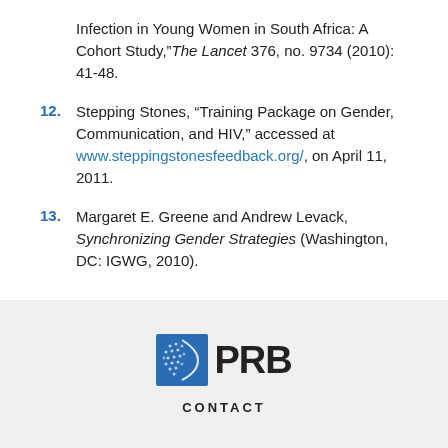Infection in Young Women in South Africa: A Cohort Study,” The Lancet 376, no. 9734 (2010): 41-48.
12. Stepping Stones, “Training Package on Gender, Communication, and HIV,” accessed at www.steppingstonesfeedback.org/, on April 11, 2011.
13. Margaret E. Greene and Andrew Levack, Synchronizing Gender Strategies (Washington, DC: IGWG, 2010).
[Figure (logo): PRB (Population Reference Bureau) logo with blue globe icon and PRB text]
CONTACT